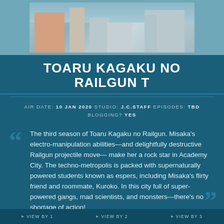[Figure (photo): Exterior photo of buildings, architectural structures with a light blue sky background]
TOARU KAGAKU NO RAILGUN T
AIR DATE: 10 JAN 2020 STUDIO: J.C.STAFF EPISODES: TBD BLOGGING? YES
The third season of Toaru Kagaku no Railgun. Misaka's electro-manipulation abilities—and delightfully destructive Railgun projectile move—make her a rock star in Academy City. The techno-metropolis is packed with supernaturally powered students known as espers, including Misaka's flirty friend and roommate, Kuroko. In this city full of super-powered gangs, mad scientists, and monsters—there's no shortage of action!
VIEW BY 1   VIEW BY 2   VIEW BY 3